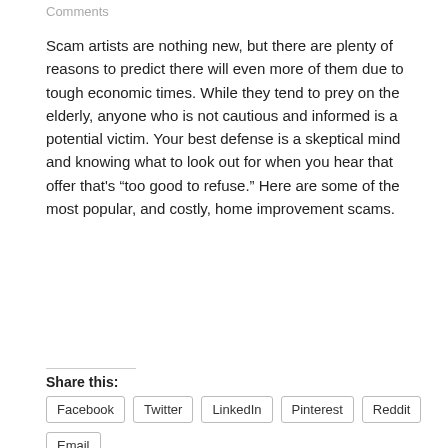Comments
Scam artists are nothing new, but there are plenty of reasons to predict there will even more of them due to tough economic times. While they tend to prey on the elderly, anyone who is not cautious and informed is a potential victim. Your best defense is a skeptical mind and knowing what to look out for when you hear that offer that’s “too good to refuse.” Here are some of the most popular, and costly, home improvement scams.
Read more ›
Share this:
Facebook
Twitter
LinkedIn
Pinterest
Reddit
Email